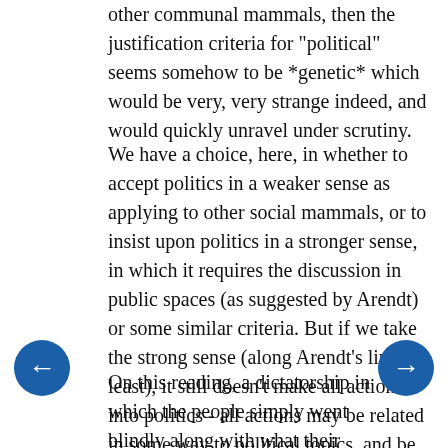other communal mammals, then the justification criteria for "political" seems somehow to be *genetic* which would be very, very strange indeed, and would quickly unravel under scrutiny.
We have a choice, here, in whether to accept politics in a weaker sense as applying to other social mammals, or to insist upon politics in a stronger sense, in which it requires the discussion in public spaces (as suggested by Arendt) or some similar criteria. But if we take the strong sense (along Arendt's lines, at least), it still doesn't make all action into politics - all actions may be related in some way to political topics, and be in this sense political actions, but the strong sense of politics requires the public space for discussion first and foremost - it is this which gives us politics.
On this reading, a dictatorship in which the people simply went blindly along with what their tyrant ordered wouldn't be political either, at least not inherently. The people under a dictator would become political only whe. they began to talk together and work together towards certain ends (whether in support of, or in opposition of,